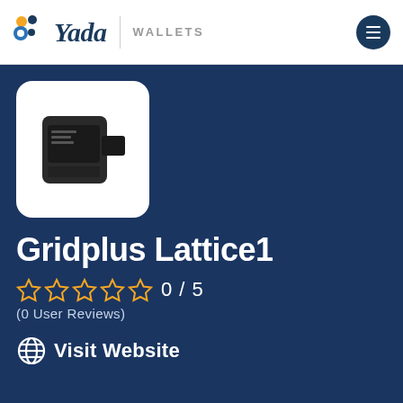Yada | WALLETS
[Figure (photo): Product image of Gridplus Lattice1 hardware wallet — a dark/black rectangular device with an open card slot, shown on a white rounded-rectangle background]
Gridplus Lattice1
0/ 5
(0 User Reviews)
Visit Website